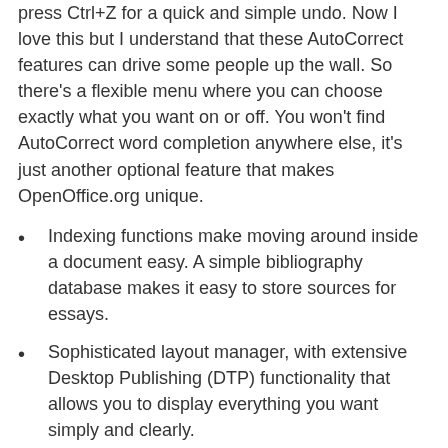press Ctrl+Z for a quick and simple undo. Now I love this but I understand that these AutoCorrect features can drive some people up the wall. So there's a flexible menu where you can choose exactly what you want on or off. You won't find AutoCorrect word completion anywhere else, it's just another optional feature that makes OpenOffice.org unique.
Indexing functions make moving around inside a document easy. A simple bibliography database makes it easy to store sources for essays.
Sophisticated layout manager, with extensive Desktop Publishing (DTP) functionality that allows you to display everything you want simply and clearly.
Top
CALC
It's the spreadsheet program you've always wanted. Newcomers find it intuitive and easy to learn;